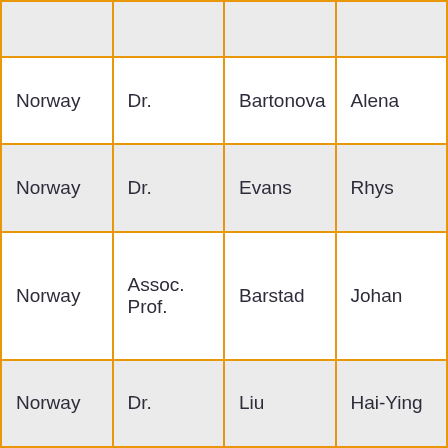|  |  |  |  |
| Norway | Dr. | Bartonova | Alena |
| Norway | Dr. | Evans | Rhys |
| Norway | Assoc.
Prof. | Barstad | Johan |
| Norway | Dr. | Liu | Hai-Ying |